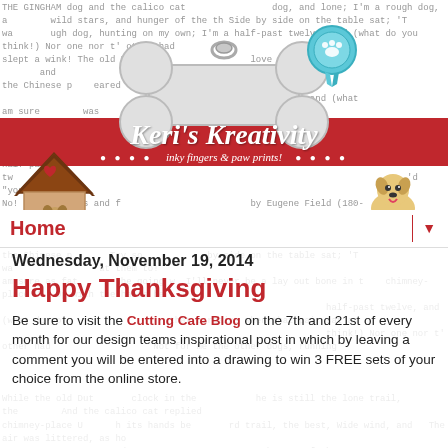[Figure (illustration): Blog header banner for 'Keri's Kreativity – inky fingers & paw prints!' featuring a large dog bone shape, a blue ribbon/rosette, cartoon dog house with dog, cartoon dog in a bowl, red horizontal bar, and decorative dot elements. Background is a collage of typewriter/poem text.]
Keri's Kreativity
inky fingers & paw prints!
Home
Wednesday, November 19, 2014
Happy Thanksgiving
Be sure to visit the Cutting Cafe Blog on the 7th and 21st of every month for our design teams inspirational post in which by leaving a comment you will be entered into a drawing to win 3 FREE sets of your choice from the online store.